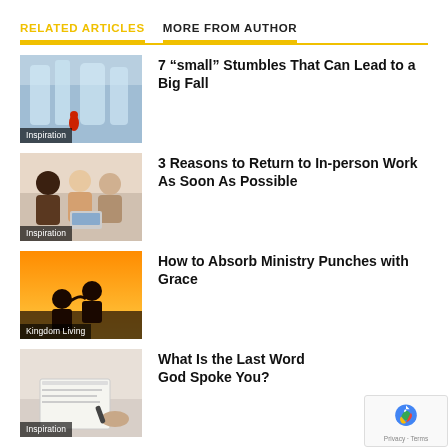RELATED ARTICLES
MORE FROM AUTHOR
7 “small” Stumbles That Can Lead to a Big Fall
Inspiration
3 Reasons to Return to In-person Work As Soon As Possible
Inspiration
How to Absorb Ministry Punches with Grace
Kingdom Living
What Is the Last Word God Spoke You?
Inspiration